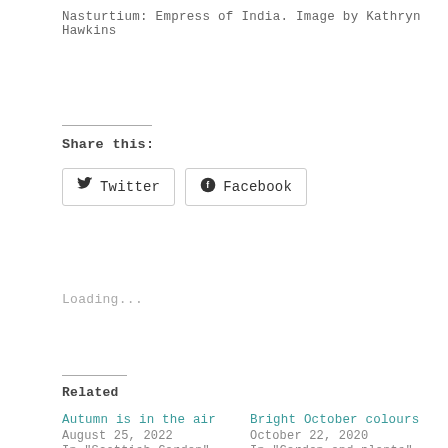Nasturtium: Empress of India. Image by Kathryn Hawkins
Share this:
[Figure (other): Twitter and Facebook share buttons]
Loading...
Related
Autumn is in the air
August 25, 2022
In "Scottish Garden"
Bright October colours
October 22, 2020
In "Garden and plants"
Shades of Autumn
October 17, 2019